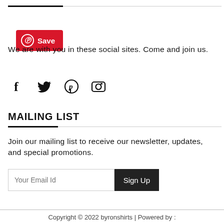[Figure (other): Red Pinterest Save button with circular P icon]
We are with you in these social sites. Come and join us.
[Figure (other): Social media icons: Facebook (f), Twitter (bird), Pinterest (P), Instagram (camera)]
MAILING LIST
Join our mailing list to receive our newsletter, updates, and special promotions.
[Figure (other): Email input field with placeholder 'Your Email Id' and a dark 'Sign Up' button]
Copyright © 2022 byronshirts | Powered by :